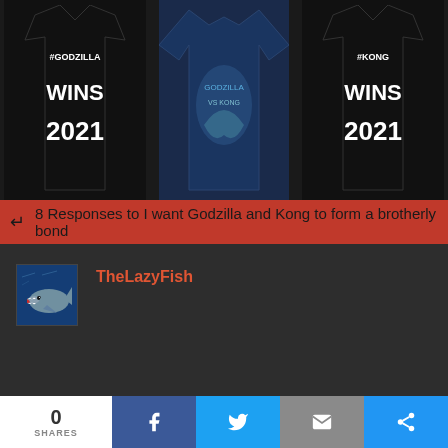[Figure (photo): Three merchandise items: left - black t-shirt with #GODZILLA WINS 2021 text, center - navy blue long-sleeve shirt with Godzilla vs Kong graphic, right - black t-shirt with #KONG WINS 2021 text]
8 Responses to I want Godzilla and Kong to form a brotherly bond
[Figure (photo): User avatar showing a shark with open mouth on blue background]
TheLazyFish
[Figure (infographic): Social share bar with share count 0 SHARES, Facebook button, Twitter button, Email button, and More button]